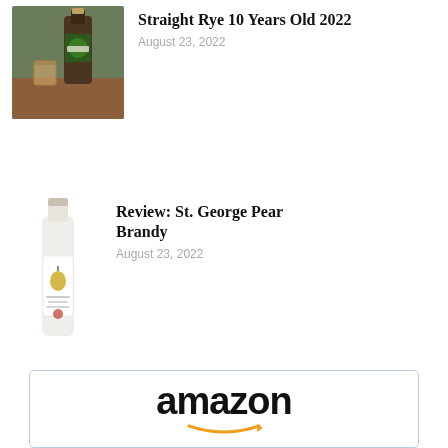[Figure (photo): Photo of a rye whiskey bottle with a green label and a glass of whiskey on a wooden surface]
Straight Rye 10 Years Old 2022
August 23, 2022
[Figure (photo): Photo of St. George Pear Brandy bottle, tall white/clear bottle with a pear label]
Review: St. George Pear Brandy
August 23, 2022
[Figure (logo): Amazon logo with orange arrow smile beneath the text]